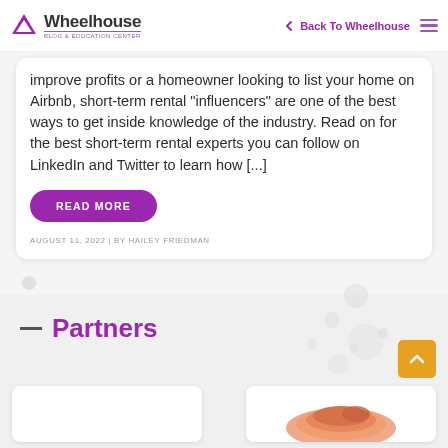Wheelhouse Blog & Education Center | Back To Wheelhouse
improve profits or a homeowner looking to list your home on Airbnb, short-term rental “influencers” are one of the best ways to get inside knowledge of the industry. Read on for the best short-term rental experts you can follow on LinkedIn and Twitter to learn how [...]
READ MORE
AUGUST 11, 2022 | BY HAILEY FRIEDMAN
Partners